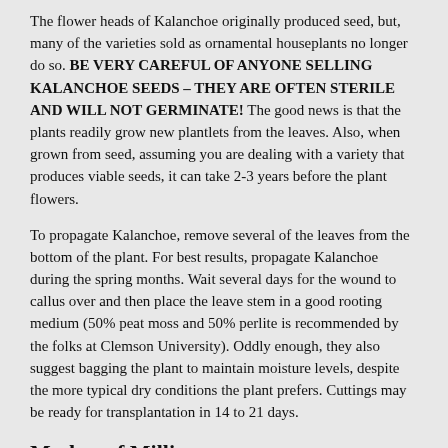The flower heads of Kalanchoe originally produced seed, but, many of the varieties sold as ornamental houseplants no longer do so. BE VERY CAREFUL OF ANYONE SELLING KALANCHOE SEEDS – THEY ARE OFTEN STERILE AND WILL NOT GERMINATE! The good news is that the plants readily grow new plantlets from the leaves. Also, when grown from seed, assuming you are dealing with a variety that produces viable seeds, it can take 2-3 years before the plant flowers.
To propagate Kalanchoe, remove several of the leaves from the bottom of the plant. For best results, propagate Kalanchoe during the spring months. Wait several days for the wound to callus over and then place the leave stem in a good rooting medium (50% peat moss and 50% perlite is recommended by the folks at Clemson University). Oddly enough, they also suggest bagging the plant to maintain moisture levels, despite the more typical dry conditions the plant prefers. Cuttings may be ready for transplantation in 14 to 21 days.
Mother of Millions
[Figure (photo): Close-up photograph of a Kalanchoe plant (Mother of Millions) showing small plantlets along the leaf edges, with green succulent foliage visible.]